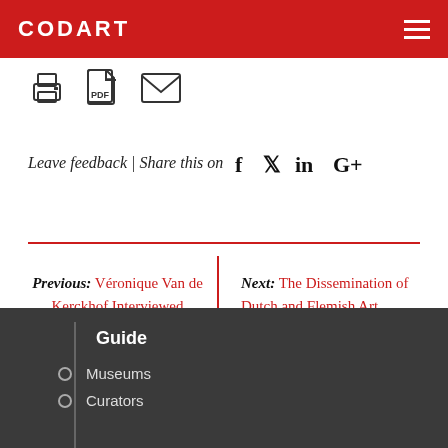CODART
[Figure (infographic): Toolbar icons: print, PDF, email]
Leave feedback | Share this on f ❧ in G+
Previous: Véronique Van de Kerckhof Interviewed | Next: The Dissemination of Dutch and Flemish Art Through the Ages
Guide
Museums
Curators